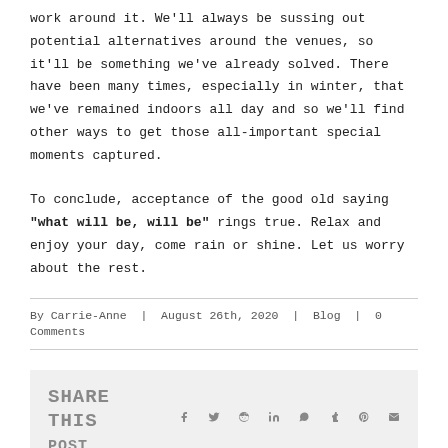work around it. We'll always be sussing out potential alternatives around the venues, so it'll be something we've already solved. There have been many times, especially in winter, that we've remained indoors all day and so we'll find other ways to get those all-important special moments captured.

To conclude, acceptance of the good old saying "what will be, will be" rings true. Relax and enjoy your day, come rain or shine. Let us worry about the rest.
By Carrie-Anne | August 26th, 2020 | Blog | 0 Comments
SHARE THIS POST